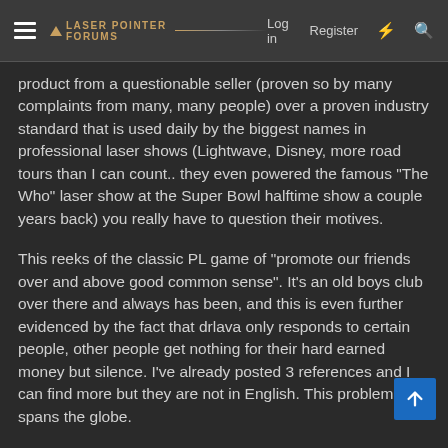Laser Pointer Forums — Log in   Register
product from a questionable seller (proven so by many complaints from many, many people) over a proven industry standard that is used daily by the biggest names in professional laser shows (Lightwave, Disney, more road tours than I can count.. they even powered the famous "The Who" laser show at the Super Bowl halftime show a couple years back) you really have to question their motives.
This reeks of the classic PL game of "promote our friends over and above good common sense". It's an old boys club over there and always has been, and this is even further evidenced by the fact that drlava only responds to certain people, other people get nothing for their hard earned money but silence. I've already posted 3 references and I can find more but they are not in English. This problem spans the globe.
If only drlava had done me right, I would have a lot less to say about him. But he didn't instead he left me hanging for months